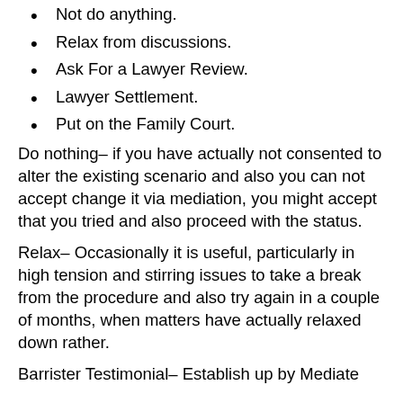Not do anything.
Relax from discussions.
Ask For a Lawyer Review.
Lawyer Settlement.
Put on the Family Court.
Do nothing– if you have actually not consented to alter the existing scenario and also you can not accept change it via mediation, you might accept that you tried and also proceed with the status.
Relax– Occasionally it is useful, particularly in high tension and stirring issues to take a break from the procedure and also try again in a couple of months, when matters have actually relaxed down rather.
Barrister Testimonial– Establish up by Mediate